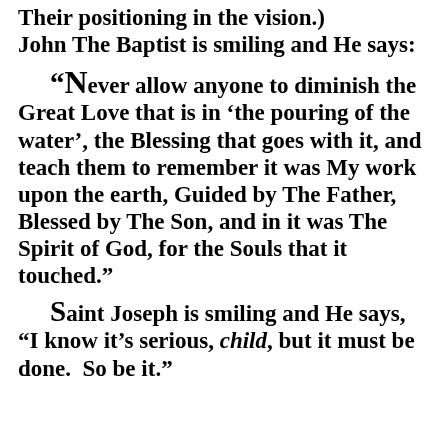Their positioning in the vision.) John The Baptist is smiling and He says:
“Never allow anyone to diminish the Great Love that is in ‘the pouring of the water’, the Blessing that goes with it, and teach them to remember it was My work upon the earth, Guided by The Father, Blessed by The Son, and in it was The Spirit of God, for the Souls that it touched.”
Saint Joseph is smiling and He says, “I know it’s serious, child, but it must be done.  So be it.”